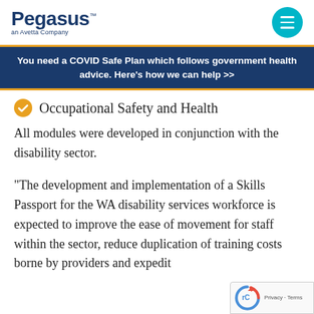Pegasus an Avetta Company
You need a COVID Safe Plan which follows government health advice. Here's how we can help >>
Occupational Safety and Health
All modules were developed in conjunction with the disability sector.
“The development and implementation of a Skills Passport for the WA disability services workforce is expected to improve the ease of movement for staff within the sector, reduce duplication of training costs borne by providers and expedit